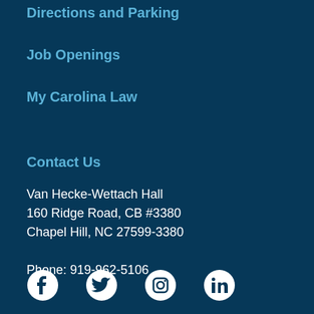Directions and Parking
Job Openings
My Carolina Law
Contact Us
Van Hecke-Wettach Hall
160 Ridge Road, CB #3380
Chapel Hill, NC 27599-3380

Phone: 919-962-5106
[Figure (illustration): Social media icons: Facebook, Twitter, Instagram, LinkedIn]